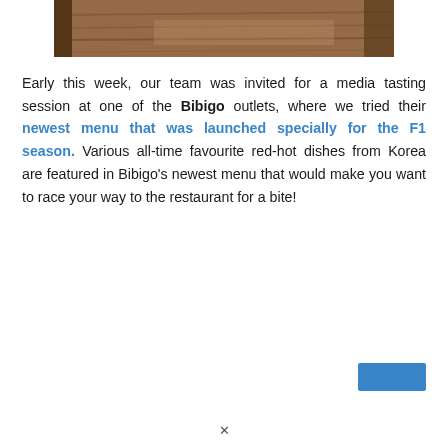[Figure (photo): Partial photo of a restaurant interior showing wooden furniture and flooring, cropped at the top of the page]
Early this week, our team was invited for a media tasting session at one of the Bibigo outlets, where we tried their newest menu that was launched specially for the F1 season. Various all-time favourite red-hot dishes from Korea are featured in Bibigo's newest menu that would make you want to race your way to the restaurant for a bite!